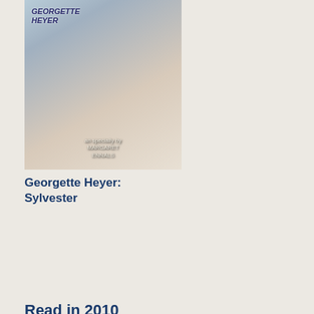[Figure (photo): Book cover for Georgette Heyer: Sylvester, showing a woman in a white dress with flowers]
Georgette Heyer: Sylvester
Read in 2010
[Figure (photo): Book cover for Margaret James: The Silver Locket, showing a vintage portrait of a woman]
Margaret James: The Silver Locket
but
Mu
yo
sh
hav
bac
it
up
to
whi
I
rep
YE
I
KN
Any
my
nic
kin
IT
dep
her
[Figure (photo): Book cover for William Newton: The Mistress, showing ornate floral design]
William Newton: The